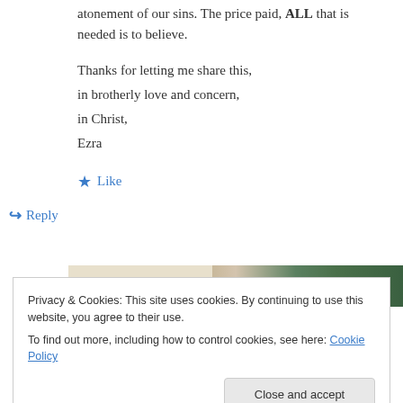atonement of our sins. The price paid, ALL that is needed is to believe.
Thanks for letting me share this,
in brotherly love and concern,
in Christ,
Ezra
★ Like
↪ Reply
[Figure (photo): Partial view of images showing food/nature items]
Privacy & Cookies: This site uses cookies. By continuing to use this website, you agree to their use.
To find out more, including how to control cookies, see here: Cookie Policy
Close and accept